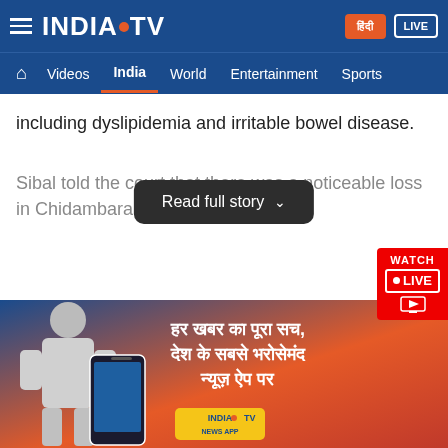INDIA TV — Navigation header with Videos, India, World, Entertainment, Sports
including dyslipidemia and irritable bowel disease.
Sibal told the court that there was a noticeable loss in Chidambaram's [weight] as
Read full story
[Figure (photo): India TV app advertisement banner featuring a news anchor, smartphone showing the India TV app, and Hindi text reading 'हर खबर का पूरा सच, देश के सबसे भरोसेमंद न्यूज़ ऐप पर' (Full truth of every news, on the country's most trusted news app)]